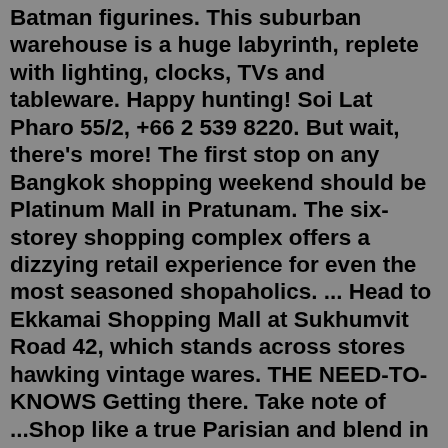Batman figurines. This suburban warehouse is a huge labyrinth, replete with lighting, clocks, TVs and tableware. Happy hunting! Soi Lat Pharo 55/2, +66 2 539 8220. But wait, there's more! The first stop on any Bangkok shopping weekend should be Platinum Mall in Pratunam. The six-storey shopping complex offers a dizzying retail experience for even the most seasoned shopaholics. ... Head to Ekkamai Shopping Mall at Sukhumvit Road 42, which stands across stores hawking vintage wares. THE NEED-TO-KNOWS Getting there. Take note of ...Shop like a true Parisian and blend in with the locals in secondhand couture from these affordable luxury vintage boutiques. 4 Luxury Vintage Shops In Paris For The BEST Finds Search for:Pickadaily Bangkok shopping mall in English Europe style, Vintage shopping mall and locate on Onnuch, Bangkok, Thailand. HDR Style. Photo about europe, architect, outdoor - 166448281Home to the best vintage clothing & retro fashion. Shop the best 80's & 90's brands & styles. Retro sportswear, original designer clothing